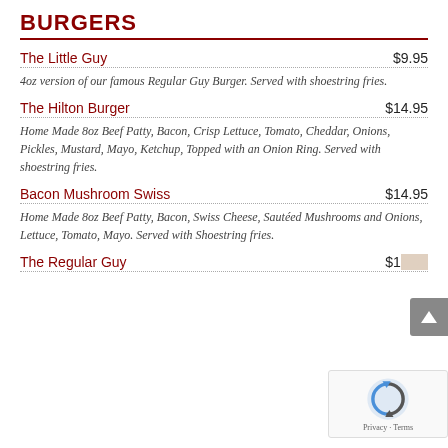BURGERS
The Little Guy
4oz version of our famous Regular Guy Burger. Served with shoestring fries.
The Hilton Burger
Home Made 8oz Beef Patty, Bacon, Crisp Lettuce, Tomato, Cheddar, Onions, Pickles, Mustard, Mayo, Ketchup, Topped with an Onion Ring. Served with shoestring fries.
Bacon Mushroom Swiss
Home Made 8oz Beef Patty, Bacon, Swiss Cheese, Sautéed Mushrooms and Onions, Lettuce, Tomato, Mayo. Served with Shoestring fries.
The Regular Guy